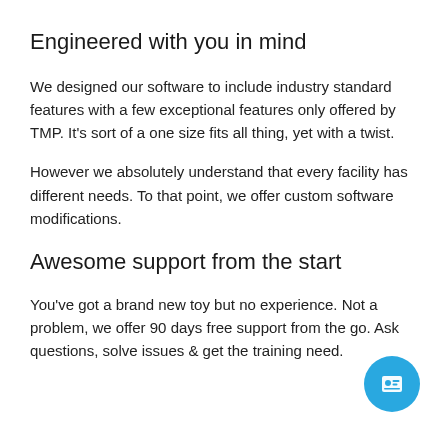Engineered with you in mind
We designed our software to include industry standard features with a few exceptional features only offered by TMP. It's sort of a one size fits all thing, yet with a twist.
However we absolutely understand that every facility has different needs. To that point, we offer custom software modifications.
Awesome support from the start
You've got a brand new toy but no experience. Not a problem, we offer 90 days free support from the go. Ask questions, solve issues & get the training need.
[Figure (illustration): Blue circular chat/contact button with a person/ID card icon, positioned at bottom right of the page]